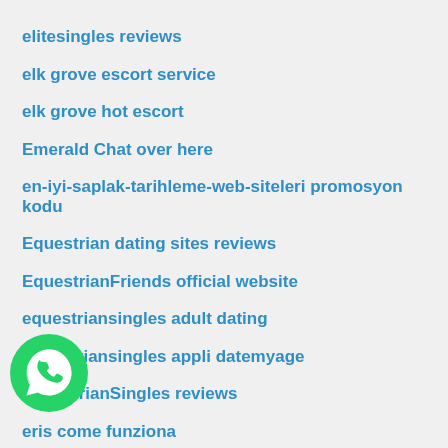elitesingles reviews
elk grove escort service
elk grove hot escort
Emerald Chat over here
en-iyi-saplak-tarihleme-web-siteleri promosyon kodu
Equestrian dating sites reviews
EquestrianFriends official website
equestriansingles adult dating
equestriansingles appli datemyage
EquestrianSingles reviews
eris come funziona
erisdating dating
ethnic dating sites reviews
escondido hot escort
[Figure (logo): WhatsApp green circular logo icon]